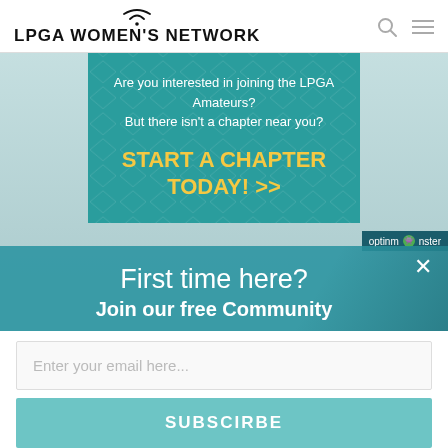LPGA WOMEN'S NETWORK
[Figure (screenshot): LPGA Women's Network website header with wifi-signal logo icon, search icon, and hamburger menu icon]
[Figure (infographic): Teal banner ad with diamond pattern overlay. White text: 'Are you interested in joining the LPGA Amateurs? But there isn't a chapter near you?' Yellow bold text: 'START A CHAPTER TODAY! >>']
[Figure (screenshot): OptinMonster popup overlay with close X button, white text 'First time here?' and 'Join our free Community', email input field with placeholder 'Enter your email here...', and SUBSCIRBE button]
First time here?
Join our free Community
Enter your email here...
SUBSCIRBE